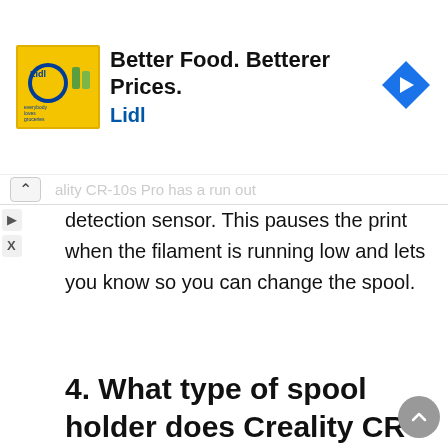[Figure (screenshot): Advertisement banner for Lidl grocery store with logo, text 'Better Food. Betterer Prices. Lidl' and a blue navigation arrow icon]
ally, CR-10s Pro has a run out detection sensor. This pauses the print when the filament is running low and lets you know so you can change the spool.
4. What type of spool holder does Creality CR-10s Pro have?
Creality CR-10s Pro has an adjustable spool holder. This helps to keep the